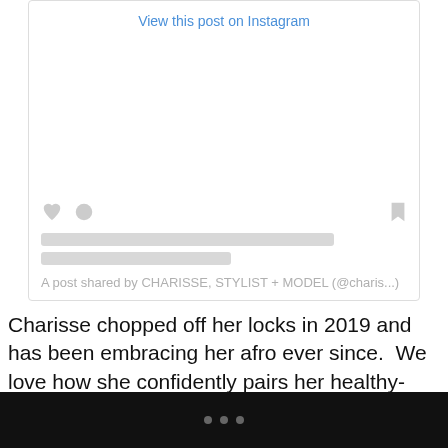[Figure (screenshot): Instagram embed placeholder showing 'View this post on Instagram' link, blank image area, heart/comment/bookmark icons, two gray loading bars, and attribution text 'A post shared by CHARISSE, STYLIST + MODEL (@charis...']
Charisse chopped off her locks in 2019 and has been embracing her afro ever since.  We love how she confidently pairs her healthy-looking afro with fierce fashions.  Follow her for inspiration on how to rock your new-found natural ‘do if you just did the big chop as well.
• • •